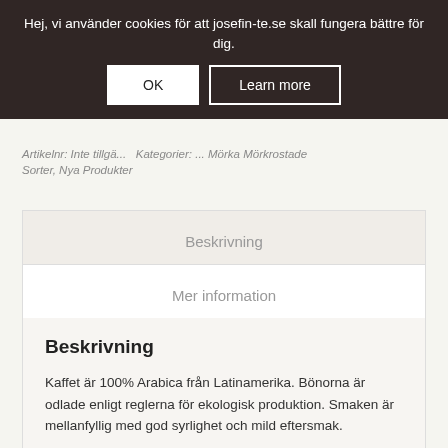Hej, vi använder cookies för att josefin-te.se skall fungera bättre för dig.
OK
Learn more
Artikelnr: Inte tillgä... | Kategorier: ... Mörka Mörkrostade Sorter, Nya Produkter
Beskrivning
Mer information
Beskrivning
Kaffet är 100% Arabica från Latinamerika. Bönorna är odlade enligt reglerna för ekologisk produktion. Smaken är mellanfyllig med god syrlighet och mild eftersmak.